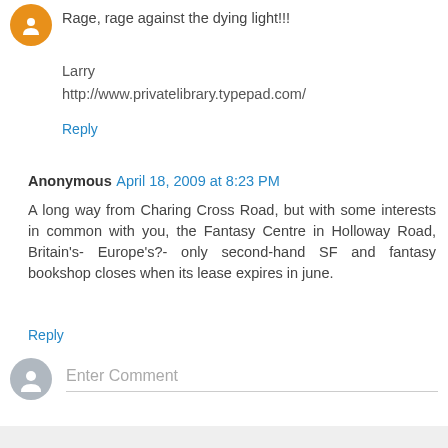[Figure (illustration): Orange circular avatar with a person icon]
Rage, rage against the dying light!!!

Larry
http://www.privatelibrary.typepad.com/
Reply
Anonymous  April 18, 2009 at 8:23 PM
A long way from Charing Cross Road, but with some interests in common with you, the Fantasy Centre in Holloway Road, Britain's- Europe's?- only second-hand SF and fantasy bookshop closes when its lease expires in june.
Reply
[Figure (illustration): Gray circular avatar with a silhouette person icon]
Enter Comment